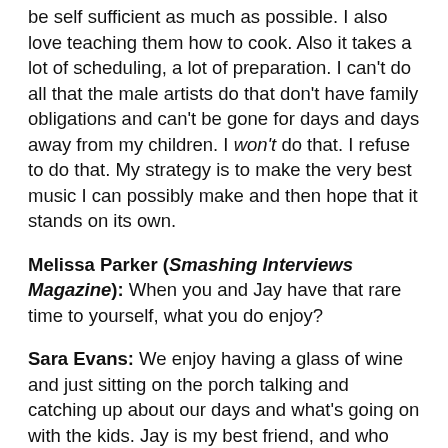be self sufficient as much as possible. I also love teaching them how to cook. Also it takes a lot of scheduling, a lot of preparation. I can't do all that the male artists do that don't have family obligations and can't be gone for days and days away from my children. I won't do that. I refuse to do that. My strategy is to make the very best music I can possibly make and then hope that it stands on its own.
Melissa Parker (Smashing Interviews Magazine): When you and Jay have that rare time to yourself, what you do enjoy?
Sara Evans: We enjoy having a glass of wine and just sitting on the porch talking and catching up about our days and what's going on with the kids. Jay is my best friend, and who wouldn't want to just sit and talk with their best friend at the end of each day?
Melissa Parker (Smashing Interviews Magazine): ...